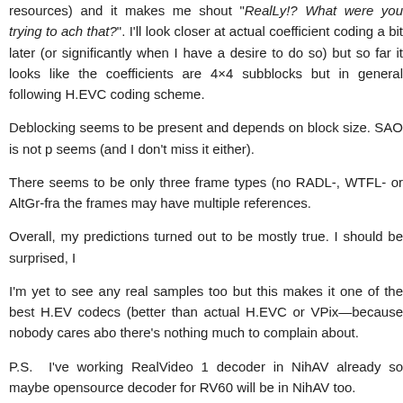resources) and it makes me shout “RealLy!? What were you trying to achieve with that?”. I’ll look closer at actual coefficient coding a bit later (or significantly later, when I have a desire to do so) but so far it looks like the coefficients are coded in 4×4 subblocks but in general following H.EVC coding scheme.
Deblocking seems to be present and depends on block size. SAO is not present it seems (and I don’t miss it either).
There seems to be only three frame types (no RADL-, WTFL- or AltGr-frames) and the frames may have multiple references.
Overall, my predictions turned out to be mostly true. I should be surprised, I guess.
I’m yet to see any real samples too but this makes it one of the best H.EVC-based codecs (better than actual H.EVC or VPix—because nobody cares about it) and there’s nothing much to complain about.
P.S. I’ve working RealVideo 1 decoder in NihAV already so maybe the first opensource decoder for RV60 will be in NihAV too.
Posted in RealVideo | Comments Closed
Dingo Pictures Works: Adventures
Tuesday, October 3rd, 2017
This category can be alternatively titled wild animal adventures and it contains probably the most famous Dingo Pictures cartoons.